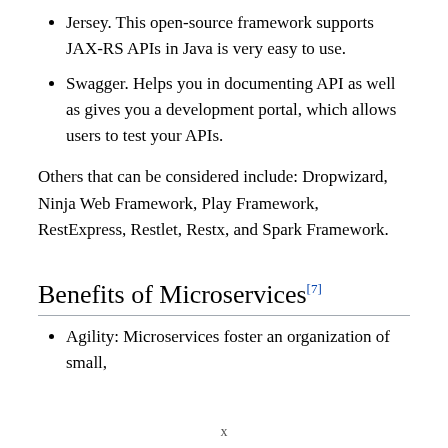Jersey. This open-source framework supports JAX-RS APIs in Java is very easy to use.
Swagger. Helps you in documenting API as well as gives you a development portal, which allows users to test your APIs.
Others that can be considered include: Dropwizard, Ninja Web Framework, Play Framework, RestExpress, Restlet, Restx, and Spark Framework.
Benefits of Microservices[7]
Agility: Microservices foster an organization of small,